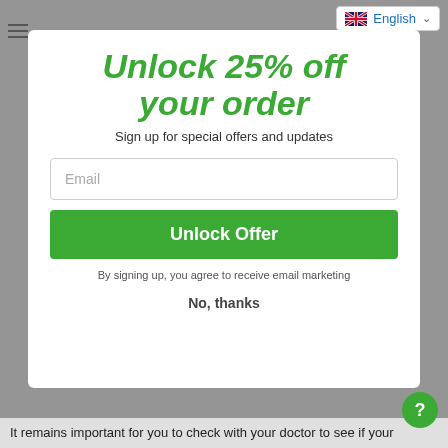[Figure (screenshot): Language selector showing UK flag and 'English' label with dropdown chevron]
Unlock 25% off your order
Sign up for special offers and updates
Email
Unlock Offer
By signing up, you agree to receive email marketing
No, thanks
It remains important for you to check with your doctor to see if your